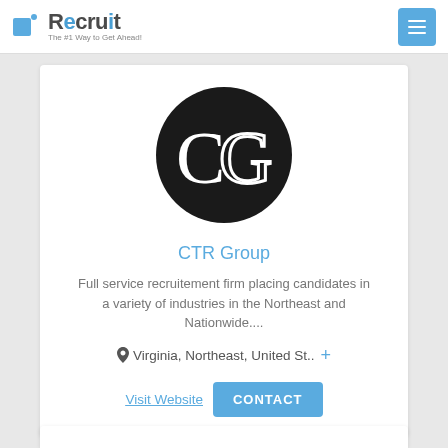Recruit — The #1 Way to Get Ahead!
[Figure (logo): CTR Group logo: black circle with white letters CG]
CTR Group
Full service recruitement firm placing candidates in a variety of industries in the Northeast and Nationwide....
📍 Virginia, Northeast, United St.. +
Visit Website  CONTACT